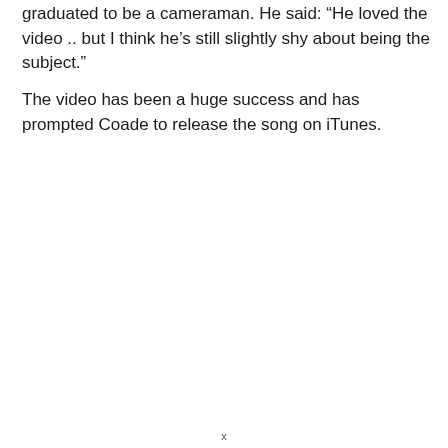graduated to be a cameraman. He said: “He loved the video .. but I think he’s still slightly shy about being the subject.”
The video has been a huge success and has prompted Coade to release the song on iTunes.
x